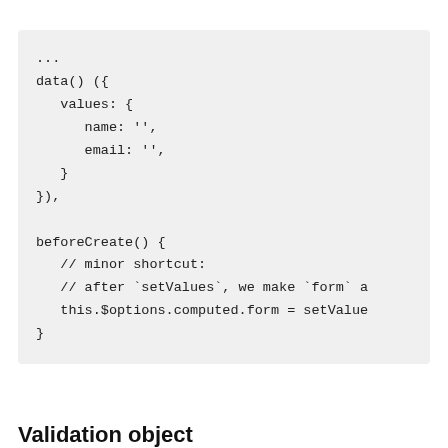...
data() ({
   values: {
      name: '',
      email: '',
   }
}),

beforeCreate() {
   // minor shortcut:
   // after `setValues`, we make `form` a
   this.$options.computed.form = setValue
}
Validation object